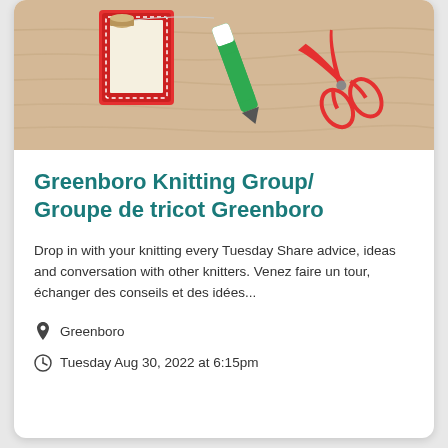[Figure (illustration): Illustration of craft supplies on a wooden table background: a red notebook/folder with white stitching, a green and white marker/pen, red scissors, and thread spool]
Greenboro Knitting Group/ Groupe de tricot Greenboro
Drop in with your knitting every Tuesday Share advice, ideas and conversation with other knitters. Venez faire un tour, échanger des conseils et des idées...
Greenboro
Tuesday Aug 30, 2022 at 6:15pm